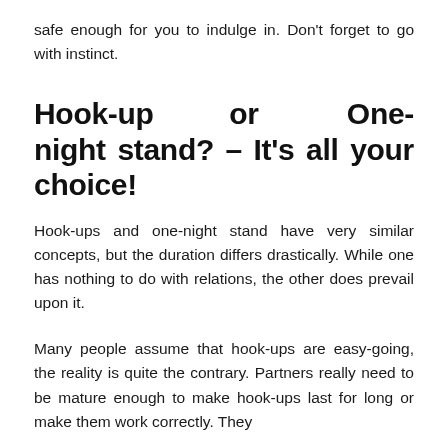safe enough for you to indulge in. Don't forget to go with instinct.
Hook-up or One-night stand? – It's all your choice!
Hook-ups and one-night stand have very similar concepts, but the duration differs drastically. While one has nothing to do with relations, the other does prevail upon it.
Many people assume that hook-ups are easy-going, the reality is quite the contrary. Partners really need to be mature enough to make hook-ups last for long or make them work correctly. They